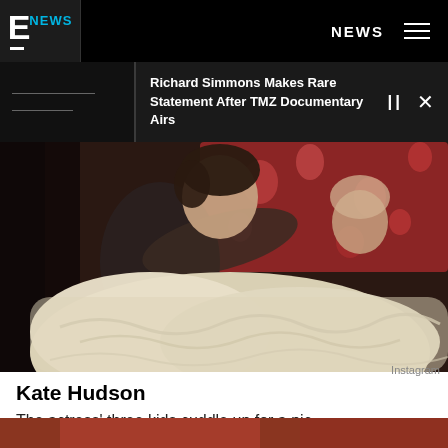E! NEWS  NEWS
Richard Simmons Makes Rare Statement After TMZ Documentary Airs
[Figure (photo): A child cuddling on a couch with a large cream/white knit blanket, colorful floral pillows in the background. Photo credit: Instagram.]
Instagram
Kate Hudson
The actress' three kids cuddle up for a pic.
[Figure (photo): Bottom strip showing partial preview of next image.]